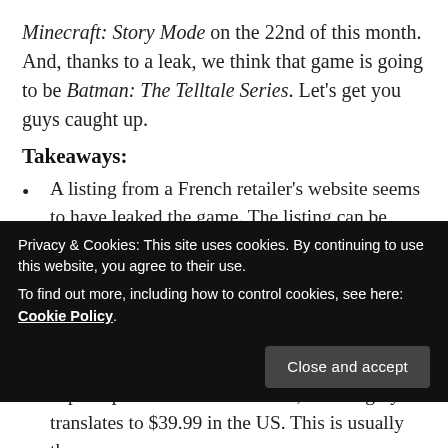Minecraft: Story Mode on the 22nd of this month. And, thanks to a leak, we think that game is going to be Batman: The Telltale Series. Let's get you guys caught up.
Takeaways:
A listing from a French retailer's website seems to have leaked the game. The listing can be seen here.
It has the game set to be released on October 9th. If that's the case, then I would assume an official announcement from Telltale will be quite soon.
A price point of €34.99 is listed, this roughly translates to $39.99 in the US. This is usually the
Privacy & Cookies: This site uses cookies. By continuing to use this website, you agree to their use.
To find out more, including how to control cookies, see here: Cookie Policy